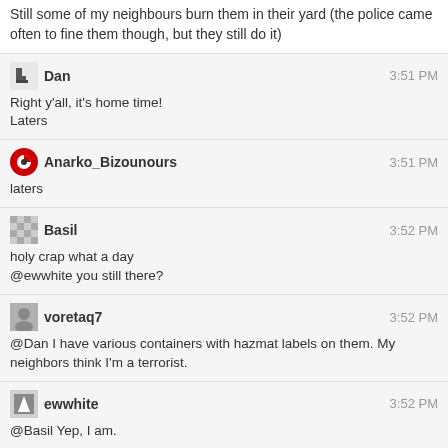Still some of my neighbours burn them in their yard (the police came often to fine them though, but they still do it)
Dan 3:51 PM
Right y'all, it's home time!
Laters
Anarko_Bizounours 3:51 PM
laters
Basil 3:52 PM
holy crap what a day
@ewwhite you still there?
voretaq7 3:52 PM
@Dan I have various containers with hazmat labels on them. My neighbors think I'm a terrorist.
ewwhite 3:52 PM
@Basil Yep, I am.
Anarko_Bizounours 3:53 PM
@voretaq7 you don't have a beard do you?
Basil 3:54 PM
@ewwhite I saw your earlier messages but I've been upgrading fabric switch firmware all morning. If they can't do replication properly, they won't get taken seriously by any big shops. That said, even big shops have unreplicated storage- one of our two core prod boxes is unreplicated (for pre-prod), and all of our remote locations have